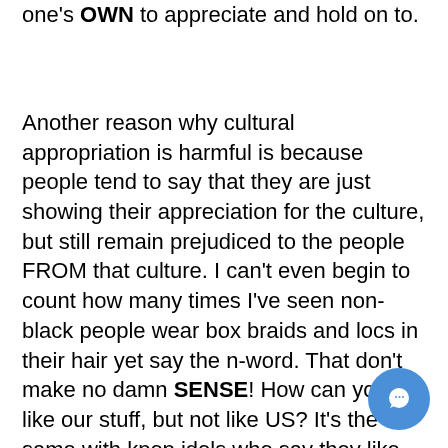one's OWN to appreciate and hold on to.
Another reason why cultural appropriation is harmful is because people tend to say that they are just showing their appreciation for the culture, but still remain prejudiced to the people FROM that culture. I can't even begin to count how many times I've seen non-black people wear box braids and locs in their hair yet say the n-word. That don't make no damn SENSE! How can you like our stuff, but not like US? It's the same with kpop idols who say they like 'hip hop' and that they just want to be cool and then are caught saying 'nigga' or